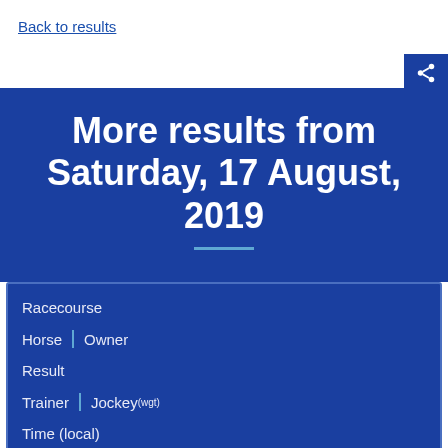Back to results
More results from Saturday, 17 August, 2019
| Racecourse | Horse | Owner | Result | Trainer | Jockey (wgt) | Time (local) | Race details |
| --- | --- | --- | --- | --- | --- |
Caulfield (AUS)